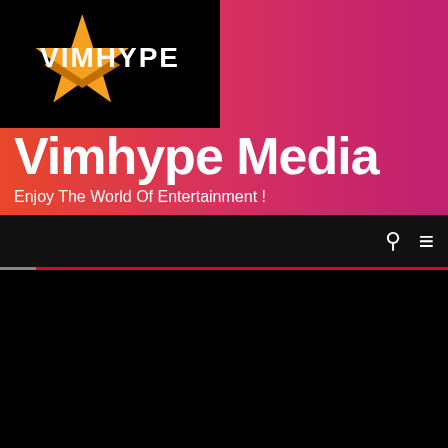[Figure (logo): Vimhype logo: orange star shape with VIMHYPE text in white on black background]
Vimhype Media
Enjoy The World Of Entertainment !
[Figure (screenshot): Navigation bar with search and menu icons on dark background, red accent line below]
[Figure (screenshot): Black content area with dark crimson scroll-to-top button with up arrow]